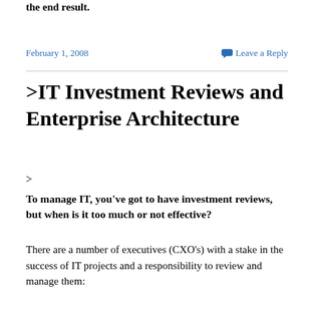the end result.
February 1, 2008
Leave a Reply
>IT Investment Reviews and Enterprise Architecture
>
To manage IT, you've got to have investment reviews, but when is it too much or not effective?
There are a number of executives (CXO's) with a stake in the success of IT projects and a responsibility to review and manage them: